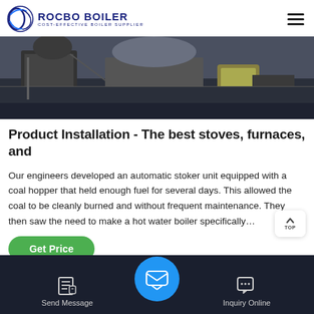ROCBO BOILER - COST-EFFECTIVE BOILER SUPPLIER
[Figure (photo): Industrial boiler installation site showing machinery, equipment and workers area outdoors]
Product Installation - The best stoves, furnaces, and
Our engineers developed an automatic stoker unit equipped with a coal hopper that held enough fuel for several days. This allowed the coal to be cleanly burned and without frequent maintenance. They then saw the need to make a hot water boiler specifically…
Get Price